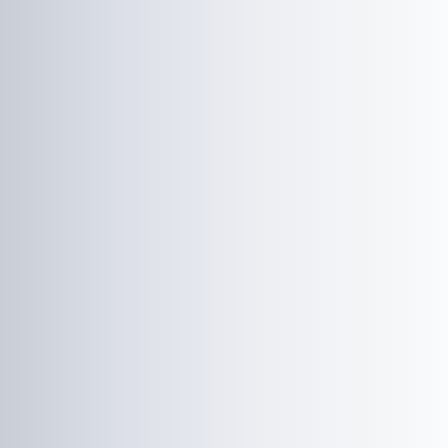Warm Springs Counseling Center can b... Primary Service Offered: Drug Rehabilit... Treatment Services: Mental Wellness Se... for the Hearing Impaired, Spanish Spea...
Leyline Advocates 38.3 miles from Mo... Leyline Advocates is a Drug Rehab that... Leyline Advocates can be contacted by... Primary Service Offered: Drug Rehab Treatment Services: Mental Wellness Se...
Idaho Behavioral Health 38.4 miles fro... Idaho Behavioral Health is a Drug Reha... 83705. Idaho Behavioral Health can be contacte... Primary Service Offered: Drug Rehab Treatment Services: Mental Wellness Se... for the Hearing Impaired
Terry Reilly Health Services 39.7 miles... Terry Reilly Health Services is a Drug Tr... Street Boise, ID. 83702. Terry Reilly Health Services can be cont... Primary Service Offered: Drug Treatmen... Treatment Services: Mental Wellness Se... for the Hearing Impaired, Spanish Spea...
LifeMatters Counseling Services LLC... LifeMatters Counseling Services LLC is... Road Boise, ID. 83705.